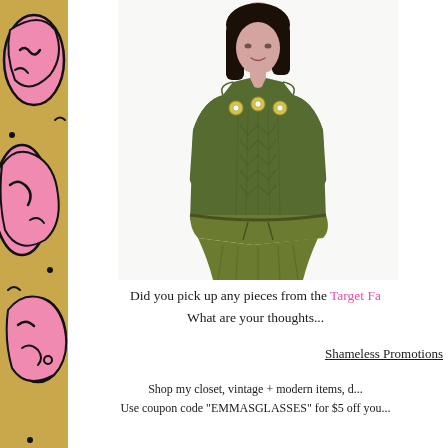[Figure (illustration): Decorative left strip with gold/tan background and abstract pink blob shapes with black outlines, resembling a funky floral or amoeba pattern]
[Figure (photo): Fashion photo of a young Asian woman wearing an olive/army green cable-knit sweater with a collar V-neck and yellow floral embroidered button accents, paired with an olive drawstring skirt. White background.]
Did you pick up any pieces from the Target Fa... What are your thoughts...
Shameless Promotions
Shop my closet, vintage + modern items, d... Use coupon code "EMMASGLASSES" for $5 off you...